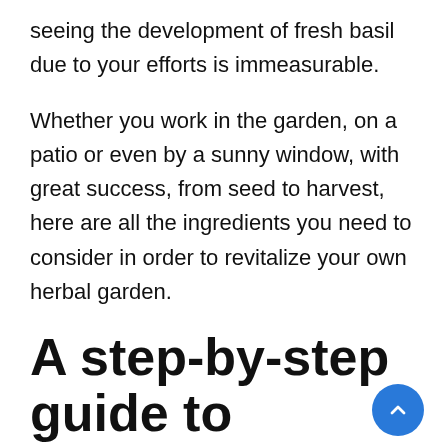seeing the development of fresh basil due to your efforts is immeasurable.
Whether you work in the garden, on a patio or even by a sunny window, with great success, from seed to harvest, here are all the ingredients you need to consider in order to revitalize your own herbal garden.
A step-by-step guide to growing your perfume at home
To sow or not to sow